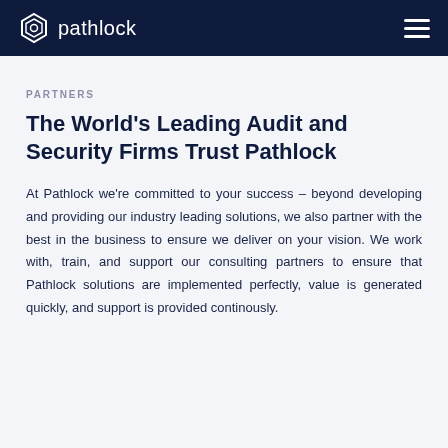pathlock
PARTNERS
The World's Leading Audit and Security Firms Trust Pathlock
At Pathlock we're committed to your success – beyond developing and providing our industry leading solutions, we also partner with the best in the business to ensure we deliver on your vision. We work with, train, and support our consulting partners to ensure that Pathlock solutions are implemented perfectly, value is generated quickly, and support is provided continously.